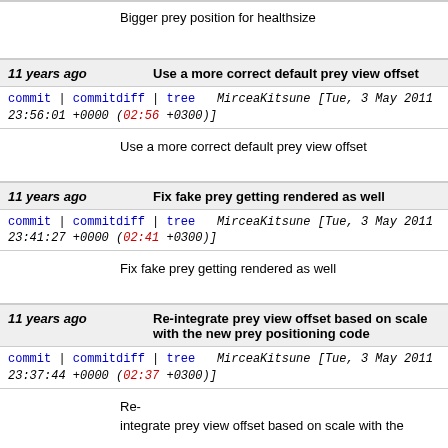Bigger prey position for healthsize
11 years ago  Use a more correct default prey view offset
commit | commitdiff | tree  MirceaKitsune [Tue, 3 May 2011 23:56:01 +0000 (02:56 +0300)]
Use a more correct default prey view offset
11 years ago  Fix fake prey getting rendered as well
commit | commitdiff | tree  MirceaKitsune [Tue, 3 May 2011 23:41:27 +0000 (02:41 +0300)]
Fix fake prey getting rendered as well
11 years ago  Re-integrate prey view offset based on scale with the new prey positioning code
commit | commitdiff | tree  MirceaKitsune [Tue, 3 May 2011 23:37:44 +0000 (02:37 +0300)]
Re-integrate prey view offset based on scale with the
11 years ago  More tweaks to the prey positioning code